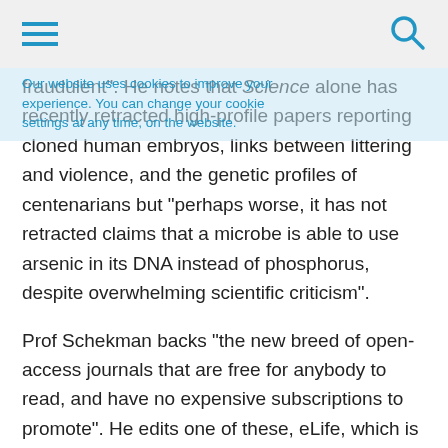[hamburger menu] [search icon]
Our website uses cookies to improve your experience. You can change your cookie settings at any time, on the website.
fraudulent". He notes that Science alone has recently retracted high-profile papers reporting cloned human embryos, links between littering and violence, and the genetic profiles of centenarians but "perhaps worse, it has not retracted claims that a microbe is able to use arsenic in its DNA instead of phosphorus, despite overwhelming scientific criticism".
Prof Schekman backs "the new breed of open-access journals that are free for anybody to read, and have no expensive subscriptions to promote". He edits one of these, eLife, which is funded by the Wellcome Trust, the Howard